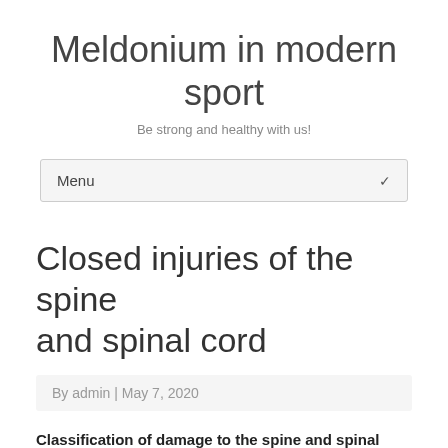Meldonium in modern sport
Be strong and healthy with us!
Menu
Closed injuries of the spine and spinal cord
By admin | May 7, 2020
Classification of damage to the spine and spinal cord